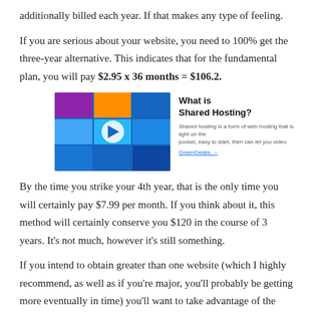additionally billed each year. If that makes any type of feeling.
If you are serious about your website, you need to 100% get the three-year alternative. This indicates that for the fundamental plan, you will pay $2.95 x 36 months = $106.2.
[Figure (screenshot): A video thumbnail showing a grid of people photos with a play button, beside text reading 'What is Shared Hosting?' with a short description and a link.]
By the time you strike your 4th year, that is the only time you will certainly pay $7.99 per month. If you think about it, this method will certainly conserve you $120 in the course of 3 years. It's not much, however it's still something.
If you intend to obtain greater than one website (which I highly recommend, as well as if you're major, you'll probably be getting more eventually in time) you'll want to take advantage of the